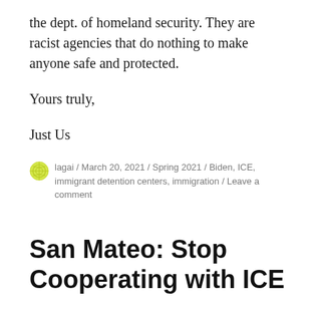the dept. of homeland security. They are racist agencies that do nothing to make anyone safe and protected.
Yours truly,
Just Us
lagai / March 20, 2021 / Spring 2021 / Biden, ICE, immigrant detention centers, immigration / Leave a comment
San Mateo: Stop Cooperating with ICE